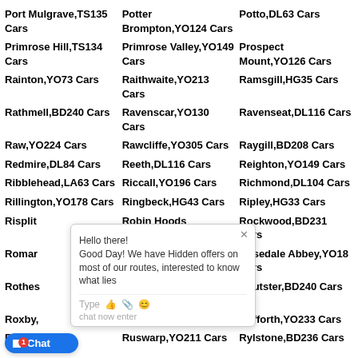Port Mulgrave,TS135 Cars
Potter Brompton,YO124 Cars
Potto,DL63 Cars
Primrose Hill,TS134 Cars
Primrose Valley,YO149 Cars
Prospect Mount,YO126 Cars
Rainton,YO73 Cars
Raithwaite,YO213 Cars
Ramsgill,HG35 Cars
Rathmell,BD240 Cars
Ravenscar,YO130 Cars
Ravenseat,DL116 Cars
Raw,YO224 Cars
Rawcliffe,YO305 Cars
Raygill,BD208 Cars
Redmire,DL84 Cars
Reeth,DL116 Cars
Reighton,YO149 Cars
Ribblehead,LA63 Cars
Riccall,YO196 Cars
Richmond,DL104 Cars
Rillington,YO178 Cars
Ringbeck,HG43 Cars
Ripley,HG33 Cars
Risplit... Cars
Robin Hoods Bay,YO224 Cars
Rockwood,BD231 Cars
Roman... Cars
Rookwith,HG44 Cars
Rosedale Abbey,YO18 Cars
Rotherham... Cars
Roundhill Village,TS175 Cars
Routster,BD240 Cars
Roxby,... Cars
Rudby,TS150 Cars
Rufforth,YO233 Cars
R...139 Cars
Ruswarp,YO211 Cars
Rylstone,BD236 Cars